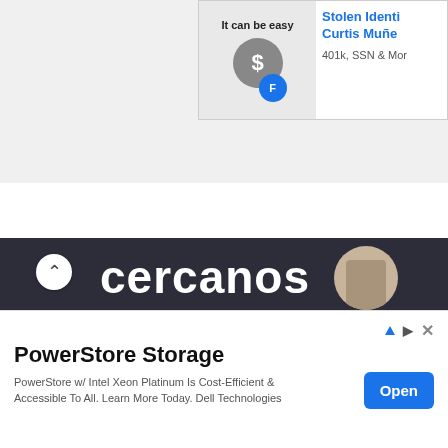[Figure (screenshot): Top-right advertisement banner showing 'It can be easy' with identity theft protection ad for Curtis Muñe, mentioning 401k, SSN & More]
[Figure (screenshot): Dark navigation bar showing 'cercanos' and 'asistencia legal' with up chevron and avatar circle, and 'Ads by optAd360' label]
(b) Line 2 shows the higher temperature distribution. At a higher temperature, more of the molecules will be at higher energies, causing the distribution to flatten out and shift to the right.
[Figure (screenshot): Bottom advertisement for PowerStore Storage by Dell Technologies with Open button]